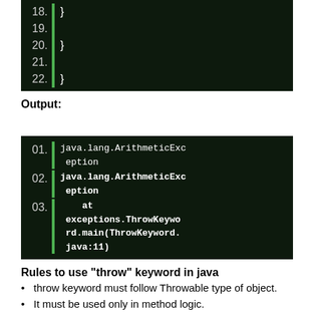[Figure (screenshot): Dark code editor showing lines 18-22 with closing braces]
Output:
[Figure (screenshot): Dark code output block showing: 01. java.lang.ArithmeticException  02. java.lang.ArithmeticException  03.     at exceptions.ThrowKeyword.main(ThrowKeyword.java:11)]
Rules to use "throw" keyword in java
throw keyword must follow Throwable type of object.
It must be used only in method logic.